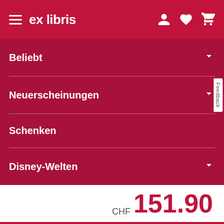ex libris
Beliebt
Neuerscheinungen
Schenken
Disney-Welten
CHF 151.90
In den Warenkorb